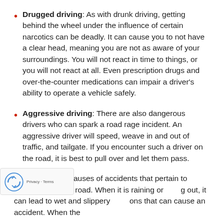Drugged driving: As with drunk driving, getting behind the wheel under the influence of certain narcotics can be deadly. It can cause you to not have a clear head, meaning you are not as aware of your surroundings. You will not react in time to things, or you will not react at all. Even prescription drugs and over-the-counter medications can impair a driver's ability to operate a vehicle safely.
Aggressive driving: There are also dangerous drivers who can spark a road rage incident. An aggressive driver will speed, weave in and out of traffic, and tailgate. If you encounter such a driver on the road, it is best to pull over and let them pass.
There are other causes of accidents that pertain to conditions of the road. When it is raining or snowing out, it can lead to wet and slippery conditions that can cause an accident. When the